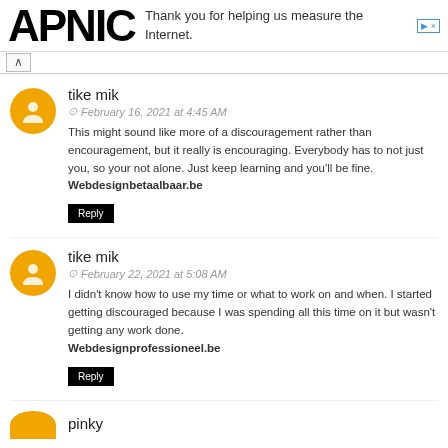APNIC — Thank you for helping us measure the Internet.
tike mik
© February 16, 2021 at 4:45 AM
This might sound like more of a discouragement rather than encouragement, but it really is encouraging. Everybody has to not just you, so your not alone. Just keep learning and you'll be fine. Webdesignbetaalbaar.be
tike mik
© February 22, 2021 at 5:08 AM
I didn't know how to use my time or what to work on and when. I started getting discouraged because I was spending all this time on it but wasn't getting any work done. Webdesignprofessioneel.be
pinky